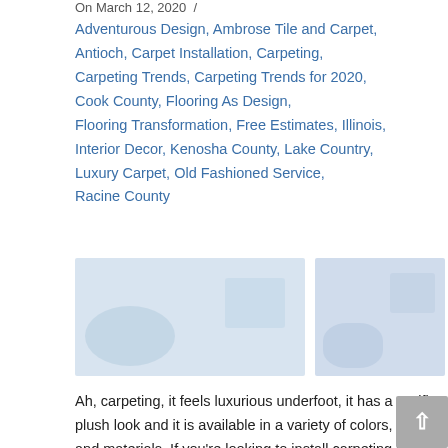On March 12, 2020  /
Adventurous Design, Ambrose Tile and Carpet, Antioch, Carpet Installation, Carpeting, Carpeting Trends, Carpeting Trends for 2020, Cook County, Flooring As Design, Flooring Transformation, Free Estimates, Illinois, Interior Decor, Kenosha County, Lake Country, Luxury Carpet, Old Fashioned Service, Racine County
[Figure (photo): Two blurred/placeholder images side by side showing carpeting or interior flooring content]
Ah, carpeting, it feels luxurious underfoot, it has a terrific plush look and it is available in a variety of colors, prints and materials. If you're looking to install carpeting in your home in this year, you